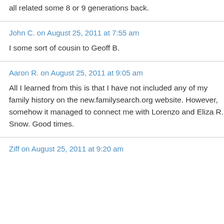all related some 8 or 9 generations back.
John C. on August 25, 2011 at 7:55 am
I some sort of cousin to Geoff B.
Aaron R. on August 25, 2011 at 9:05 am
All I learned from this is that I have not included any of my family history on the new.familysearch.org website. However, somehow it managed to connect me with Lorenzo and Eliza R. Snow. Good times.
Ziff on August 25, 2011 at 9:20 am